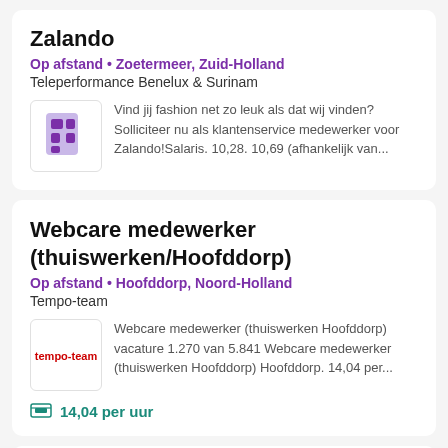Zalando
Op afstand • Zoetermeer, Zuid-Holland
Teleperformance Benelux & Surinam
[Figure (logo): Purple Zalando building/app icon logo]
Vind jij fashion net zo leuk als dat wij vinden? Solliciteer nu als klantenservice medewerker voor Zalando!Salaris. 10,28. 10,69 (afhankelijk van...
Webcare medewerker (thuiswerken/Hoofddorp)
Op afstand • Hoofddorp, Noord-Holland
Tempo-team
[Figure (logo): Tempo-team logo in red text]
Webcare medewerker (thuiswerken Hoofddorp) vacature 1.270 van 5.841 Webcare medewerker (thuiswerken Hoofddorp) Hoofddorp. 14,04 per...
14,04 per uur
Werk vanuit huis als klantenservice